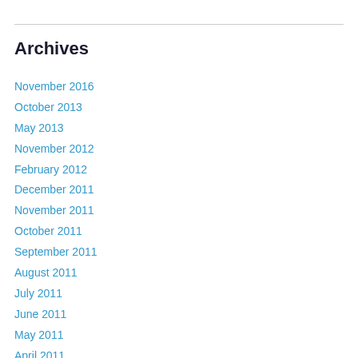Archives
November 2016
October 2013
May 2013
November 2012
February 2012
December 2011
November 2011
October 2011
September 2011
August 2011
July 2011
June 2011
May 2011
April 2011
March 2011
February 2011